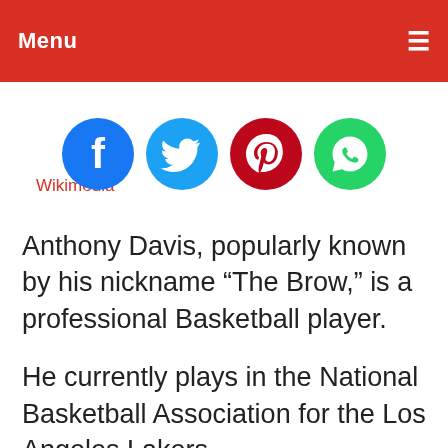Menu
Wikimedia
[Figure (infographic): Four social media share buttons: Facebook (blue circle), Twitter (light blue circle), Pinterest (dark red circle), WhatsApp (green circle)]
Anthony Davis, popularly known by his nickname “The Brow,” is a professional Basketball player.
He currently plays in the National Basketball Association for the Los Angeles Lakers.
The NBA is besieged yearly with an influx of young talents, skilled in diverse aspects of the